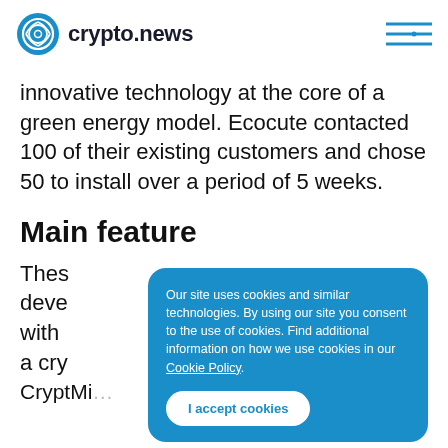crypto.news
innovative technology at the core of a green energy model. Ecocute contacted 100 of their existing customers and chose 50 to install over a period of 5 weeks.
Main feature
These deve with a cry
[Figure (screenshot): Cookie consent overlay banner with blue background. Text reads: 'Our site uses cookies and similar technologies. By using our site you consent to the use of cookies. Find additional information on how we use cookies in our Cookie Policy.' Button labeled 'I accept cookies'.]
CryptMi...